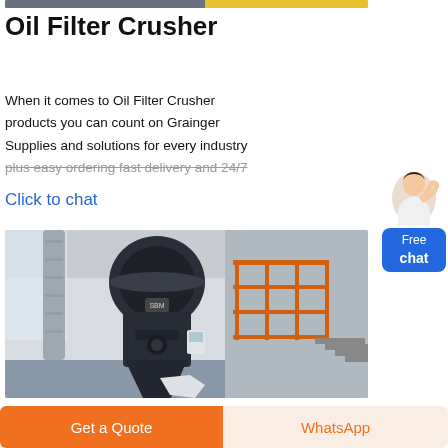[Figure (photo): Partial top strip of an industrial machine image with yellow hazard stripes on the right side]
Oil Filter Crusher
When it comes to Oil Filter Crusher products you can count on Grainger Supplies and solutions for every industry plus easy ordering fast delivery and 24/7
Click to chat
[Figure (photo): Industrial oil filter crusher machine in a factory setting with a large dark cylindrical body, silver ductwork, orange metal railings and stairs in the background]
Get a Quote
WhatsApp